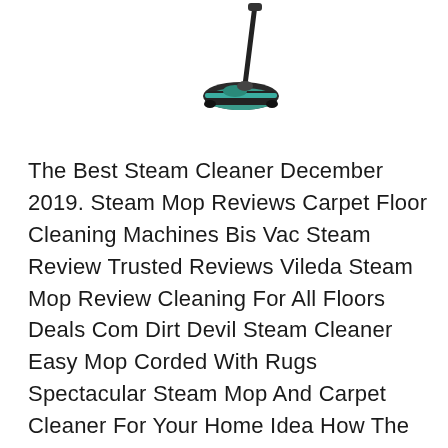[Figure (photo): A steam mop / sweeper product image showing a mop with a black handle and teal/dark cleaning head base, viewed from the front]
The Best Steam Cleaner December 2019. Steam Mop Reviews Carpet Floor Cleaning Machines Bis Vac Steam Review Trusted Reviews Vileda Steam Mop Review Cleaning For All Floors Deals Com Dirt Devil Steam Cleaner Easy Mop Corded With Rugs Spectacular Steam Mop And Carpet Cleaner For Your Home Idea How The Vax S7 Steam Mop Is A Little Disappointing Review Top 10 Best Steam Mops 2019 Reviews Editors Pick Rugs Spectacular Steam Mop … While users love the quick heating element, the one drawback is that it can be tough to tell when the water reservoir is full or approaching empty. Despite